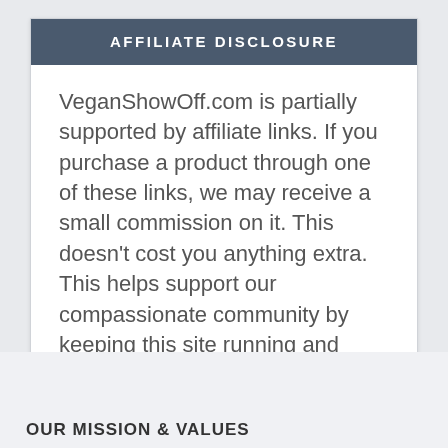AFFILIATE DISCLOSURE
VeganShowOff.com is partially supported by affiliate links.  If you purchase a product through one of these links, we may receive a small commission on it.  This doesn't cost you anything extra. This helps support our compassionate community by keeping this site running and growing.
OUR MISSION & VALUES